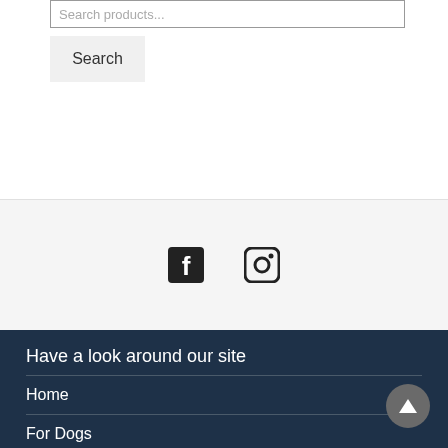Search products...
Search
[Figure (screenshot): Social media icons: Facebook and Instagram icons displayed side by side]
Have a look around our site
Home
For Dogs